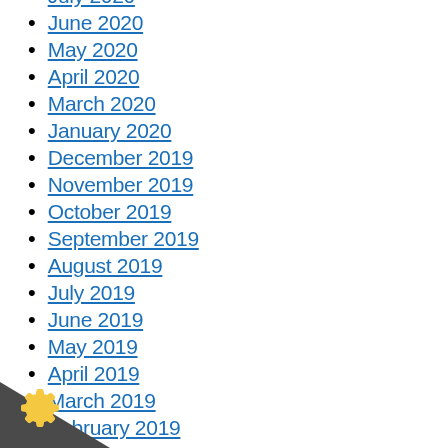July 2020
June 2020
May 2020
April 2020
March 2020
January 2020
December 2019
November 2019
October 2019
September 2019
August 2019
July 2019
June 2019
May 2019
April 2019
March 2019
February 2019
January 2019
December 2018
November 2018
October 2018
September 2018